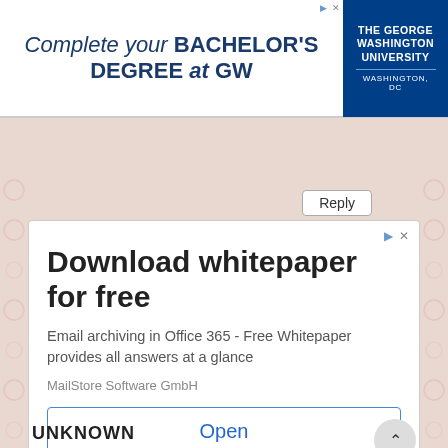[Figure (infographic): Top banner advertisement for The George Washington University: 'Complete your BACHELOR'S DEGREE at GW' with GWU logo on right side]
[Figure (screenshot): Navigation bar with back arrow button and hamburger menu icon in red/pink]
Reply
[Figure (infographic): Advertisement card: Download whitepaper for free. Email archiving in Office 365 - Free Whitepaper provides all answers at a glance. MailStore Software GmbH. Open button.]
UNKNOWN